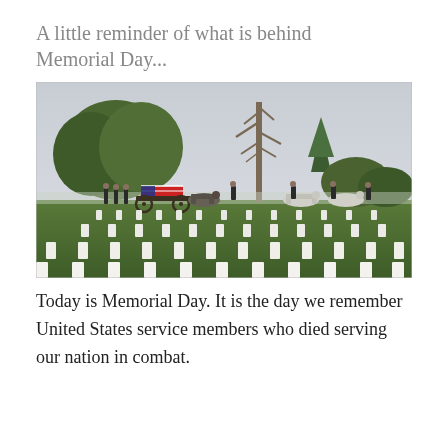A little reminder of what is behind Memorial Day...
[Figure (photo): Military funeral procession at Arlington National Cemetery. A horse-drawn caisson carries a flag-draped coffin, escorted by soldiers on horseback and on foot, with rows of white grave markers in the foreground and trees in the background.]
Today is Memorial Day. It is the day we remember United States service members who died serving our nation in combat.